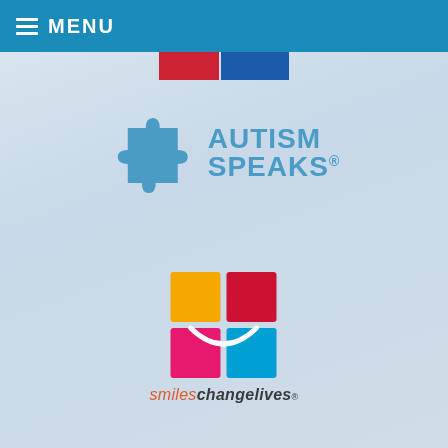MENU
[Figure (logo): Partial top logo strip with red and blue colors at top center]
[Figure (logo): Autism Speaks logo with blue puzzle piece and blue AUTISM SPEAKS text]
[Figure (logo): Smiles Change Lives logo with colorful 4-quadrant square and smile, tagline: smiles change lives®]